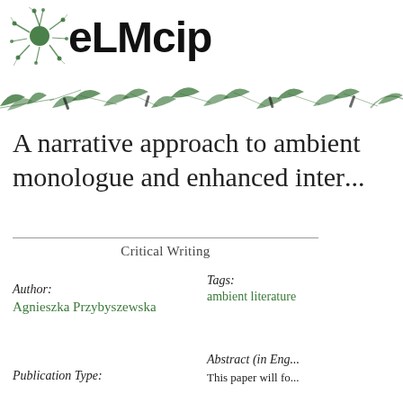[Figure (logo): eLMcip logo with green neural/botanical illustration and bold black text]
[Figure (illustration): Decorative green botanical/leaf pattern strip banner]
A narrative approach to ambient literature: monologue and enhanced interactivity
Critical Writing
Author:
Agnieszka Przybyszewska
Tags:
ambient literature
Publication Type:
Abstract (in English):
This paper will fo...